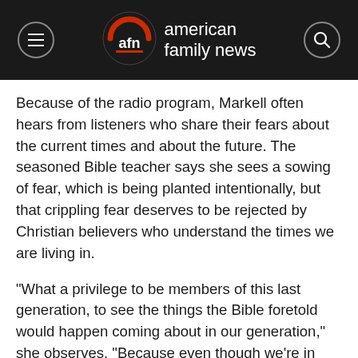american family news
Because of the radio program, Markell often hears from listeners who share their fears about the current times and about the future. The seasoned Bible teacher says she sees a sowing of fear, which is being planted intentionally, but that crippling fear deserves to be rejected by Christian believers who understand the times we are living in.
“What a privilege to be members of this last generation, to see the things the Bible foretold would happen coming about in our generation,” she observes. “Because even though we’re in very, very tough times, from every standpoint, none of this caught God by surprise. None of it. He is in control totally.”
Not only is God in control, she adds, but the clever plans and devious schemes carried out by mankind are really part of God’s plans, too.